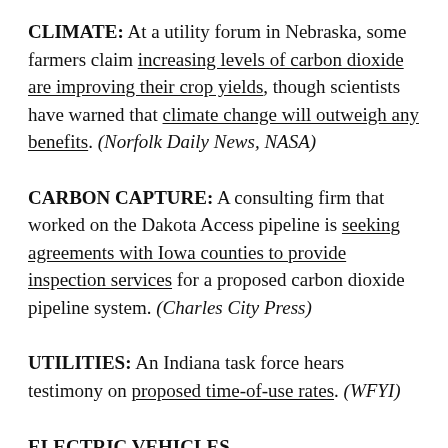CLIMATE: At a utility forum in Nebraska, some farmers claim increasing levels of carbon dioxide are improving their crop yields, though scientists have warned that climate change will outweigh any benefits. (Norfolk Daily News, NASA)
CARBON CAPTURE: A consulting firm that worked on the Dakota Access pipeline is seeking agreements with Iowa counties to provide inspection services for a proposed carbon dioxide pipeline system. (Charles City Press)
UTILITIES: An Indiana task force hears testimony on proposed time-of-use rates. (WFYI)
ELECTRIC VEHICLES